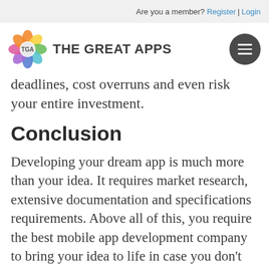Are you a member? Register | Login
[Figure (logo): The Great Apps logo with colorful flower icon and TGA text, plus hamburger menu button on the right]
deadlines, cost overruns and even risk your entire investment.
Conclusion
Developing your dream app is much more than your idea. It requires market research, extensive documentation and specifications requirements. Above all of this, you require the best mobile app development company to bring your idea to life in case you don't have required resources to hire app developer to develop